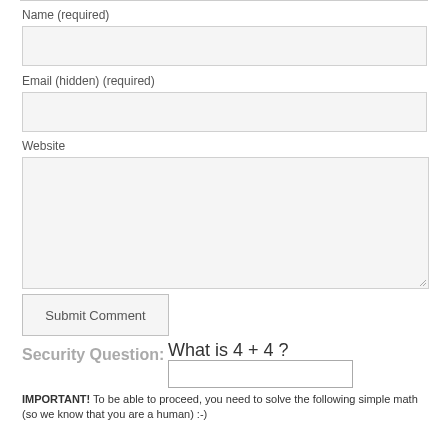Name (required)
[Figure (other): Text input field for Name]
Email (hidden) (required)
[Figure (other): Text input field for Email]
Website
[Figure (other): Textarea input field for Website]
[Figure (other): Submit Comment button]
Security Question:
What is 4 + 4 ?
[Figure (other): Security answer input field]
IMPORTANT! To be able to proceed, you need to solve the following simple math (so we know that you are a human) :-)